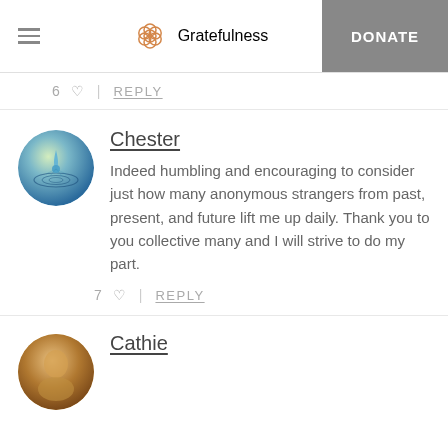Gratefulness | DONATE
6 ♡ | REPLY
[Figure (photo): Circular avatar showing a water droplet ripple on blue-green water surface]
Chester
Indeed humbling and encouraging to consider just how many anonymous strangers from past, present, and future lift me up daily. Thank you to you collective many and I will strive to do my part.
7 ♡ | REPLY
[Figure (photo): Circular avatar showing a person with warm brown tones]
Cathie